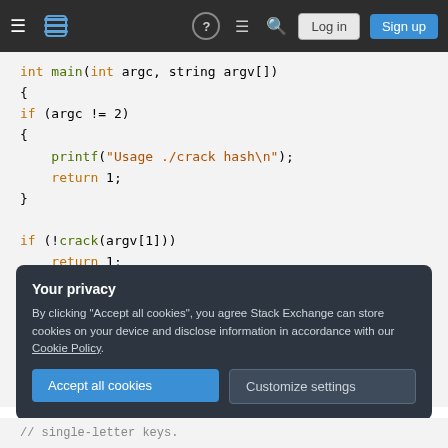[Figure (screenshot): Stack Overflow navigation bar with hamburger menu, logo, icons for help, chat, search, and Log in / Sign up buttons]
[Figure (screenshot): Code editor area showing C++ code: int main with argc/argv, if argc != 2 printf usage and return 1, if !crack(argv[1]) return 1, and bool crack(string given_hash) function signature]
Your privacy
By clicking "Accept all cookies", you agree Stack Exchange can store cookies on your device and disclose information in accordance with our Cookie Policy.
Accept all cookies
Customize settings
// single-letter keys.